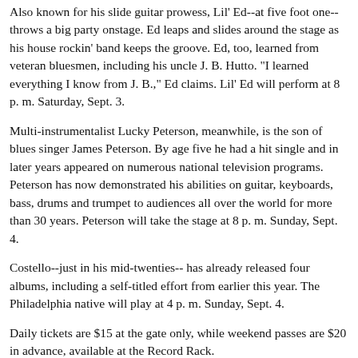Also known for his slide guitar prowess, Lil' Ed--at five foot one-- throws a big party onstage. Ed leaps and slides around the stage as his house rockin' band keeps the groove. Ed, too, learned from veteran bluesmen, including his uncle J. B. Hutto. "I learned everything I know from J. B.," Ed claims. Lil' Ed will perform at 8 p. m. Saturday, Sept. 3.
Multi-instrumentalist Lucky Peterson, meanwhile, is the son of blues singer James Peterson. By age five he had a hit single and in later years appeared on numerous national television programs. Peterson has now demonstrated his abilities on guitar, keyboards, bass, drums and trumpet to audiences all over the world for more than 30 years. Peterson will take the stage at 8 p. m. Sunday, Sept. 4.
Costello--just in his mid-twenties-- has already released four albums, including a self-titled effort from earlier this year. The Philadelphia native will play at 4 p. m. Sunday, Sept. 4.
Daily tickets are $15 at the gate only, while weekend passes are $20 in advance, available at the Record Rack.
MORE MARQUETTE BLUES